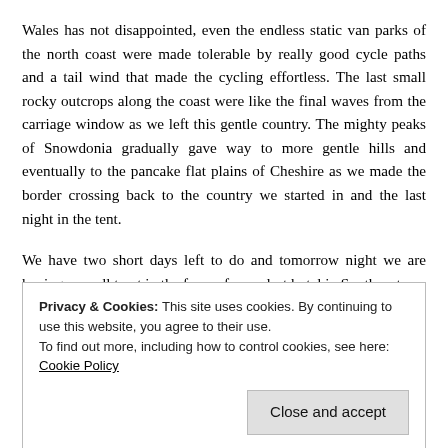Wales has not disappointed, even the endless static van parks of the north coast were made tolerable by really good cycle paths and a tail wind that made the cycling effortless. The last small rocky outcrops along the coast were like the final waves from the carriage window as we left this gentle country. The mighty peaks of Snowdonia gradually gave way to more gentle hills and eventually to the pancake flat plains of Cheshire as we made the border crossing back to the country we started in and the last night in the tent.
We have two short days left to do and tomorrow night we are having a small treat in the form of a modest hotel in Southport.
Privacy & Cookies: This site uses cookies. By continuing to use this website, you agree to their use.
To find out more, including how to control cookies, see here: Cookie Policy
Close and accept
so long. That pesky wind may even make my eyes a little watery